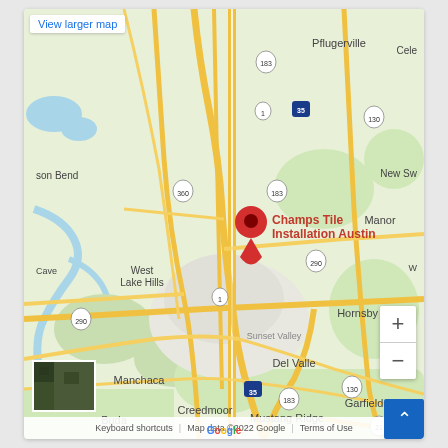[Figure (map): Google Maps screenshot showing Austin, Texas area with a red location pin labeled 'Champs Tile Installation Austin'. Surrounding areas include Pflugerville, Cele, New Sw[eeny], Manor, Hornsby Bend, Del Valle, Garfield, Manchaca, Creedmoor, Mustang Ridge, Buda, Sunset Valley, West Lake Hills, and Cave. Major roads shown include I-35, US-183, US-290, US-130, TX-1, TX-360, and TX-21.]
View larger map
Keyboard shortcuts | Map data ©2022 Google | Terms of Use